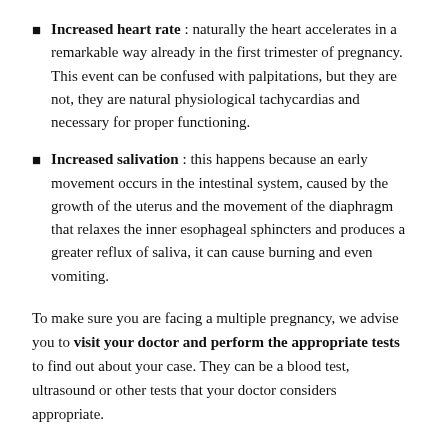Increased heart rate : naturally the heart accelerates in a remarkable way already in the first trimester of pregnancy. This event can be confused with palpitations, but they are not, they are natural physiological tachycardias and necessary for proper functioning.
Increased salivation : this happens because an early movement occurs in the intestinal system, caused by the growth of the uterus and the movement of the diaphragm that relaxes the inner esophageal sphincters and produces a greater reflux of saliva, it can cause burning and even vomiting.
To make sure you are facing a multiple pregnancy, we advise you to visit your doctor and perform the appropriate tests to find out about your case. They can be a blood test, ultrasound or other tests that your doctor considers appropriate.